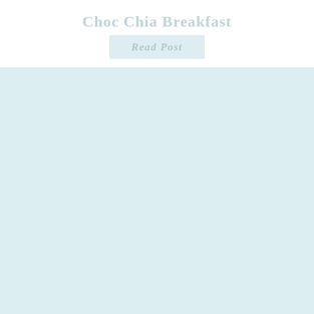Choc Chia Breakfast
Read Post
[Figure (other): Light blue background section, lower portion of the page, appearing to be a decorative or placeholder image area with very faint shadowy shapes visible in the light blue.]